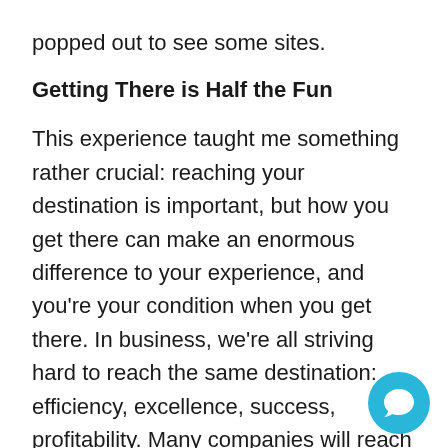popped out to see some sites.
Getting There is Half the Fun
This experience taught me something rather crucial: reaching your destination is important, but how you get there can make an enormous difference to your experience, and you’re your condition when you get there. In business, we’re all striving hard to reach the same destination: efficiency, excellence, success, profitability. Many companies will reach this goal. However, what was the journey like and what kind of shape are you in at journey’s end? Many struggle with internal processes that are inefficient, outdated,